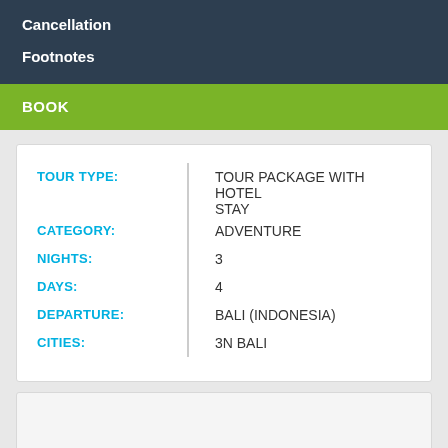Cancellation
Footnotes
BOOK
| Field | Value |
| --- | --- |
| TOUR TYPE: | TOUR PACKAGE WITH HOTEL STAY |
| CATEGORY: | ADVENTURE |
| NIGHTS: | 3 |
| DAYS: | 4 |
| DEPARTURE: | BALI (INDONESIA) |
| CITIES: | 3N BALI |